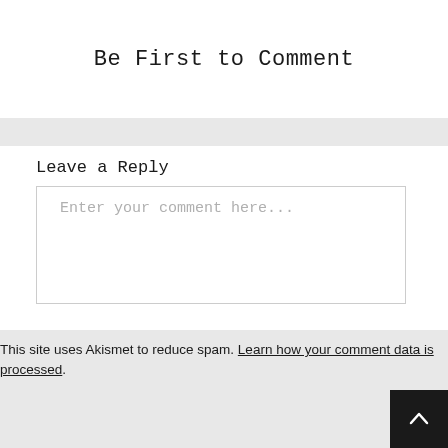Be First to Comment
Leave a Reply
Enter your comment here...
This site uses Akismet to reduce spam. Learn how your comment data is processed.